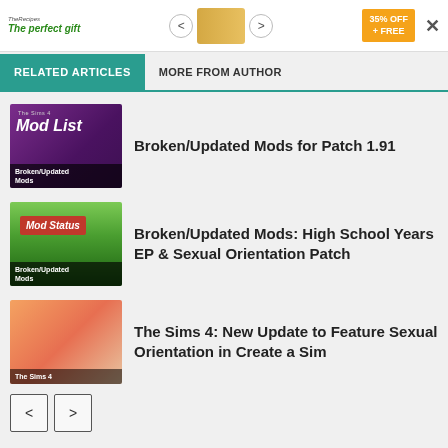[Figure (screenshot): Advertisement banner with TheRecipes logo, 'The perfect gift' text, navigation arrows, food image, and 35% OFF badge]
RELATED ARTICLES
MORE FROM AUTHOR
[Figure (screenshot): Purple thumbnail with Mod List text and character, labeled Broken/Updated Mods]
Broken/Updated Mods for Patch 1.91
[Figure (screenshot): Green outdoor scene thumbnail with Mod Status sign, labeled Broken/Updated Mods]
Broken/Updated Mods: High School Years EP & Sexual Orientation Patch
[Figure (screenshot): Colorful Sims 4 characters thumbnail, labeled The Sims 4]
The Sims 4: New Update to Feature Sexual Orientation in Create a Sim